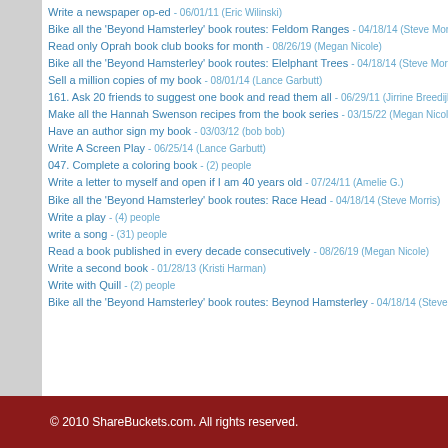Write a newspaper op-ed  -  06/01/11 (Eric Wilinski)
Bike all the 'Beyond Hamsterley' book routes: Feldom Ranges  -  04/18/14 (Steve Morris)
Read only Oprah book club books for month  -  08/26/19 (Megan Nicole)
Bike all the 'Beyond Hamsterley' book routes: Elelphant Trees  -  04/18/14 (Steve Morris)
Sell a million copies of my book  -  08/01/14 (Lance Garbutt)
161. Ask 20 friends to suggest one book and read them all  -  06/29/11 (Jirrine Breedijk)
Make all the Hannah Swenson recipes from the book series  -  03/15/22 (Megan Nicole)
Have an author sign my book  -  03/03/12 (bob bob)
Write A Screen Play  -  06/25/14 (Lance Garbutt)
047. Complete a coloring book - (2) people
Write a letter to myself and open if I am 40 years old  -  07/24/11 (Amelie G.)
Bike all the 'Beyond Hamsterley' book routes: Race Head  -  04/18/14 (Steve Morris)
Write a play - (4) people
write a song - (31) people
Read a book published in every decade consecutively  -  08/26/19 (Megan Nicole)
Write a second book  -  01/28/13 (Kristi Harman)
Write with Quill - (2) people
Bike all the 'Beyond Hamsterley' book routes: Beynod Hamsterley  -  04/18/14 (Steve Mo…)
© 2010 ShareBuckets.com. All rights reserved.